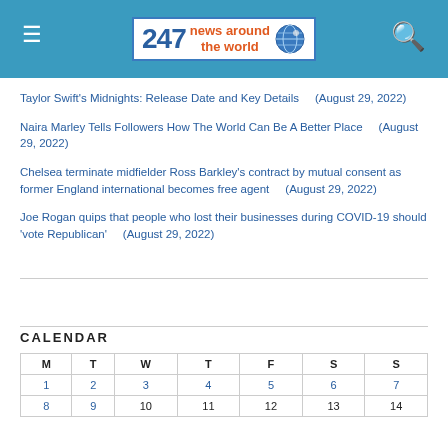247 news around the world
Taylor Swift's Midnights: Release Date and Key Details  (August 29, 2022)
Naira Marley Tells Followers How The World Can Be A Better Place  (August 29, 2022)
Chelsea terminate midfielder Ross Barkley's contract by mutual consent as former England international becomes free agent  (August 29, 2022)
Joe Rogan quips that people who lost their businesses during COVID-19 should 'vote Republican'  (August 29, 2022)
CALENDAR
| M | T | W | T | F | S | S |
| --- | --- | --- | --- | --- | --- | --- |
| 1 | 2 | 3 | 4 | 5 | 6 | 7 |
| 8 | 9 | 10 | 11 | 12 | 13 | 14 |